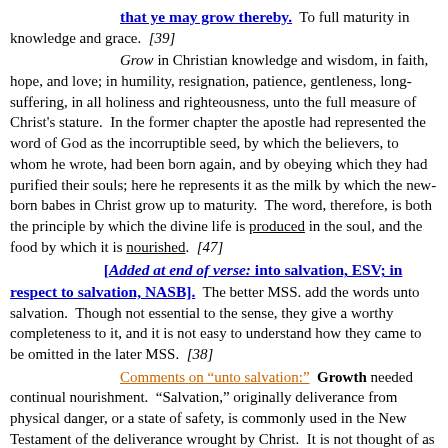that ye may grow thereby. To full maturity in knowledge and grace. [39]

Grow in Christian knowledge and wisdom, in faith, hope, and love; in humility, resignation, patience, gentleness, long-suffering, in all holiness and righteousness, unto the full measure of Christ's stature. In the former chapter the apostle had represented the word of God as the incorruptible seed, by which the believers, to whom he wrote, had been born again, and by obeying which they had purified their souls; here he represents it as the milk by which the new-born babes in Christ grow up to maturity. The word, therefore, is both the principle by which the divine life is produced in the soul, and the food by which it is nourished. [47]

[Added at end of verse: into salvation, ESV; in respect to salvation, NASB]. The better MSS. add the words unto salvation. Though not essential to the sense, they give a worthy completeness to it, and it is not easy to understand how they came to be omitted in the later MSS. [38]

Comments on “unto salvation:” Growth needed continual nourishment. “Salvation,” originally deliverance from physical danger, or a state of safety, is commonly used in the New Testament of the deliverance wrought by Christ. It is not thought of as something [fully, rw] accomplished at the time of conversion, but as the mature state, into which the new life will ultimately grow, or as a gift to be bestowed when maturity is attained (1:5);